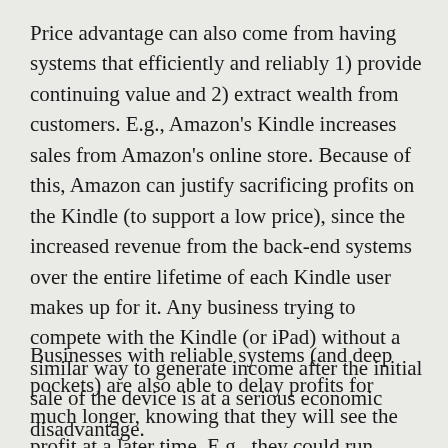Price advantage can also come from having systems that efficiently and reliably 1) provide continuing value and 2) extract wealth from customers. E.g., Amazon's Kindle increases sales from Amazon's online store. Because of this, Amazon can justify sacrificing profits on the Kindle (to support a low price), since the increased revenue from the back-end systems over the entire lifetime of each Kindle user makes up for it. Any business trying to compete with the Kindle (or iPad) without a similar way to generate income after the initial sale of the device is at a serious economic disadvantage.
Businesses with reliable systems (and deep pockets) are also able to delay profits for much longer, knowing that they will see the profit at a later time. E.g., they could run campaigns that sink hundreds of